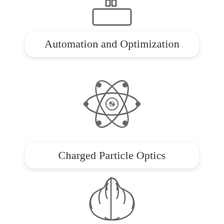[Figure (illustration): Icon of automation/router device at top of page (partially visible)]
Automation and Optimization
[Figure (illustration): Atom/charged particle optics icon with orbital rings and dots]
Charged Particle Optics
[Figure (illustration): Brain icon representing AI or machine learning]